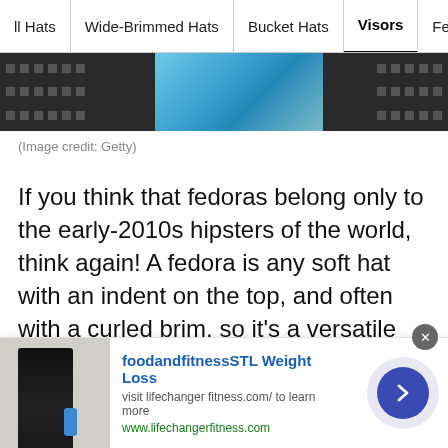ll Hats | Wide-Brimmed Hats | Bucket Hats | Visors | Fedoras
[Figure (photo): Cropped banner image showing a person wearing a hat, with film-strip style dark edges on both sides and a blue/teal center section.]
(Image credit: Getty)
If you think that fedoras belong only to the early-2010s hipsters of the world, think again! A fedora is any soft hat with an indent on the top, and often with a curled brim, so it's a versatile style that can be incredibly chic. Holly Katz counts it among her all-time favorite hat styles—especially when it features a ribbon around the base. "Find the perfect bird feathers to slide into the
[Figure (infographic): Advertisement banner: foodandfitnessSTL Weight Loss — visit lifechanger fitness.com/ to learn more. www.lifechangerfitness.com. Shows a person holding a blue bottle. Has a right-arrow circle button and a close (x) button.]